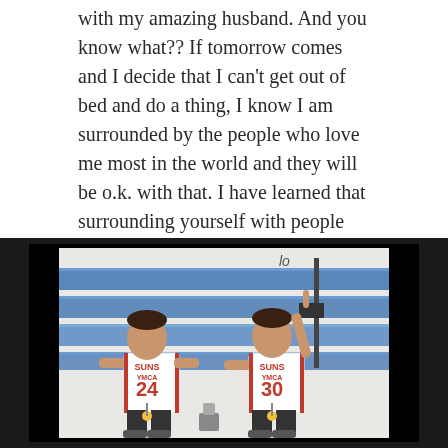with my amazing husband. And you know what?? If tomorrow comes and I decide that I can't get out of bed and do a thing, I know I am surrounded by the people who love me most in the world and they will be o.k. with that. I have learned that surrounding yourself with people who have no expectations of you, is the best way to get through these holidays that are so bloody hard now.
[Figure (photo): Two young boys wearing white SUNS YMCA basketball jerseys (numbers 24 and 30) with medals, standing in front of blue gymnasium bleachers. One boy has his arm raised with one finger pointing up.]